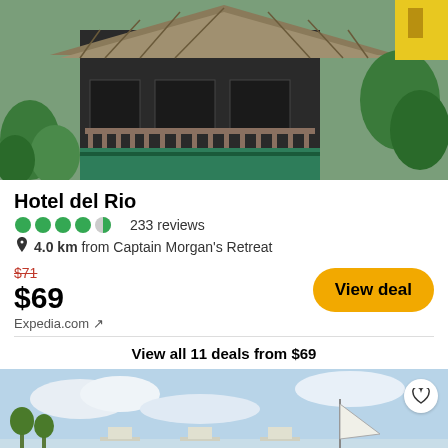[Figure (photo): Thatched-roof bungalow hotel exterior with tropical plants and wooden railing]
Hotel del Rio
233 reviews
4.0 km from Captain Morgan's Retreat
$71 (strikethrough original price)
$69
Expedia.com ↗
View deal
View all 11 deals from $69
[Figure (photo): Beach or waterfront scene with lounge chairs and open sky]